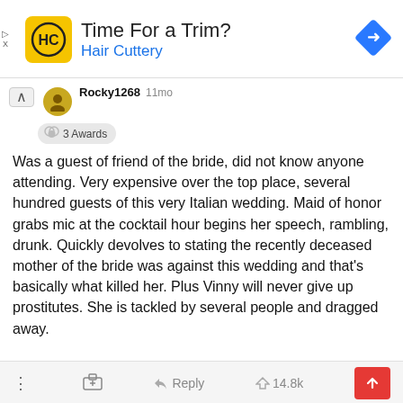[Figure (screenshot): Hair Cuttery advertisement banner with yellow HC logo, text 'Time For a Trim?' and 'Hair Cuttery' in blue, and a blue diamond-shaped navigation arrow icon on the right.]
Rocky1268 11mo
3 Awards
Was a guest of friend of the bride, did not know anyone attending. Very expensive over the top place, several hundred guests of this very Italian wedding. Maid of honor grabs mic at the cocktail hour begins her speech, rambling, drunk. Quickly devolves to stating the recently deceased mother of the bride was against this wedding and that's basically what killed her. Plus Vinny will never give up prostitutes. She is tackled by several people and dragged away.


The happy couple is separated and divorced within a year.